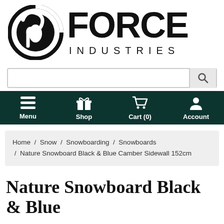[Figure (logo): Force Industries logo — circular emblem with stylized 'F' on left, bold 'FORCE' text with 'INDUSTRIES' in spaced caps below on right]
[Figure (screenshot): Search bar with text input and magnifying glass search button on right]
[Figure (screenshot): Dark teal navigation bar with four items: Menu (hamburger icon), Shop (gift icon), Cart (0) (cart icon), Account (person icon)]
Home / Snow / Snowboarding / Snowboards / Nature Snowboard Black & Blue Camber Sidewall 152cm
Nature Snowboard Black & Blue